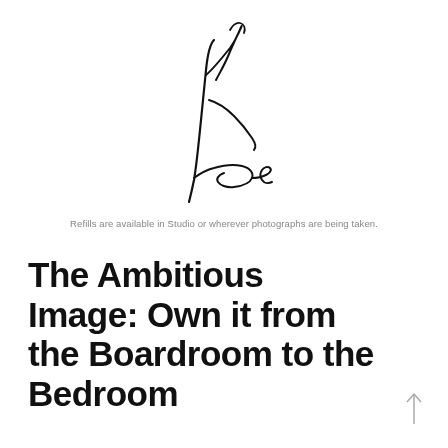[Figure (illustration): A handwritten cursive signature in black ink, resembling the letters 'Kleks' or similar stylized script, centered on a white background.]
Refills are available in Studio or wherever photographs are being taken.
The Ambitious Image: Own it from the Boardroom to the Bedroom